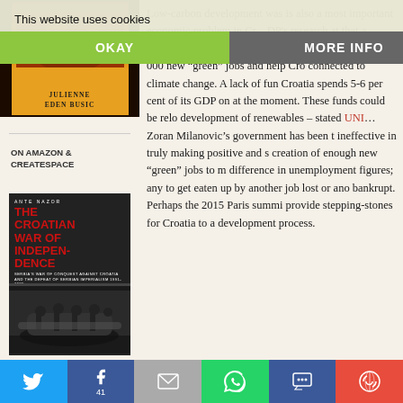[Figure (screenshot): Cookie consent banner overlay with OKAY and MORE INFO buttons on green/gray background]
[Figure (photo): Book cover: Julienne Eden Busic, yellow cover with art figures]
ON AMAZON & CREATESPACE
[Figure (photo): Book cover: Ante Nazor, The Croatian War of Independence, red title on dark background with soldiers photo]
Low-carbon development was is also a most important economic problem in Cr... DP's research at that a balance efficiency and renewable energy sources of 80 000 new "green" jobs and help Cro connected to climate change. A lack of fun Croatia spends 5-6 per cent of its GDP on at the moment. These funds could be relo development of renewables – stated UNI... Zoran Milanovic's government has been t ineffective in truly making positive and s creation of enough new "green" jobs to m difference in unemployment figures; any to get eaten up by another job lost or ano bankrupt. Perhaps the 2015 Paris summi provide stepping-stones for Croatia to a development process.
[Figure (screenshot): Social sharing bar with Twitter, Facebook (41 shares), Email, WhatsApp, SMS, and more options icons]